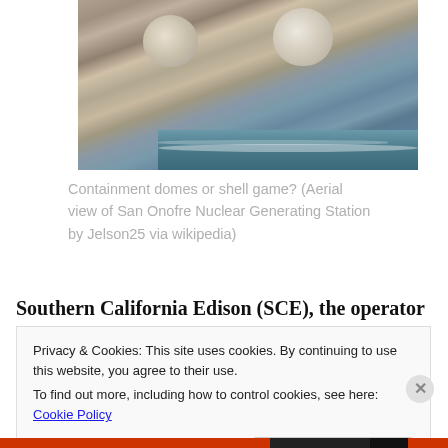[Figure (photo): Aerial photograph of San Onofre Nuclear Generating Station showing containment domes, industrial buildings, and adjacent Pacific Ocean coastline.]
Containment domes or shell game? (Aerial view of San Onofre Nuclear Generating Station by Jelson25 via wikipedia)
Southern California Edison (SCE), the operator of the
Privacy & Cookies: This site uses cookies. By continuing to use this website, you agree to their use.
To find out more, including how to control cookies, see here: Cookie Policy